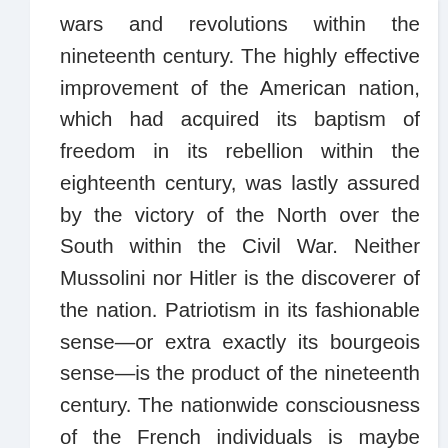wars and revolutions within the nineteenth century. The highly effective improvement of the American nation, which had acquired its baptism of freedom in its rebellion within the eighteenth century, was lastly assured by the victory of the North over the South within the Civil War. Neither Mussolini nor Hitler is the discoverer of the nation. Patriotism in its fashionable sense—or extra exactly its bourgeois sense—is the product of the nineteenth century. The nationwide consciousness of the French individuals is maybe probably the most conservative and probably the most secure of any; and to this very day it feeds from the springs of democratic traditions.